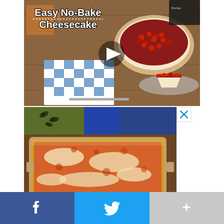[Figure (photo): Video thumbnail showing a no-bake cheesecake with cherry topping on a wooden surface, with a blue checkered cloth napkin. Play button visible. Title reads 'Easy No-Bake Cheesecake'.]
[Figure (photo): Advertisement image showing a baked casserole dish with a cheesy, saucy topping, with decorative tiles in background. An X close button is visible in the top right corner.]
[Figure (infographic): Social sharing bar at bottom with Facebook (blue, f icon), Twitter (blue, bird icon), and a More button (gray, + icon).]